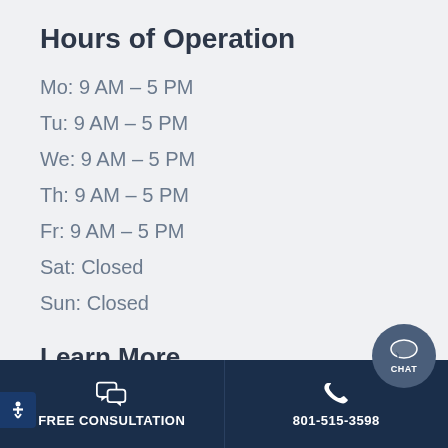Hours of Operation
Mo: 9 AM – 5 PM
Tu: 9 AM – 5 PM
We: 9 AM – 5 PM
Th: 9 AM – 5 PM
Fr: 9 AM – 5 PM
Sat: Closed
Sun: Closed
Learn More
Window Treatments
Design Center
Energy Efficiency
FREE CONSULTATION | 801-515-3598